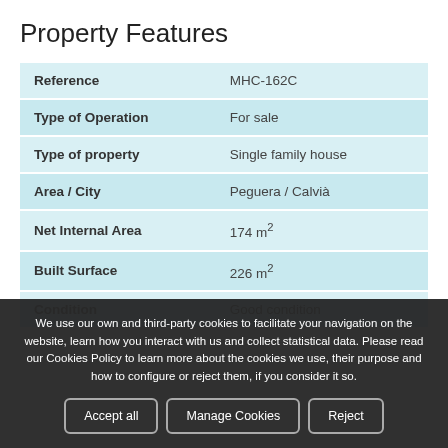Property Features
| Field | Value |
| --- | --- |
| Reference | MHC-162C |
| Type of Operation | For sale |
| Type of property | Single family house |
| Area / City | Peguera / Calvià |
| Net Internal Area | 174 m² |
| Built Surface | 226 m² |
| Condition | Good condition |
We use our own and third-party cookies to facilitate your navigation on the website, learn how you interact with us and collect statistical data. Please read our Cookies Policy to learn more about the cookies we use, their purpose and how to configure or reject them, if you consider it so.